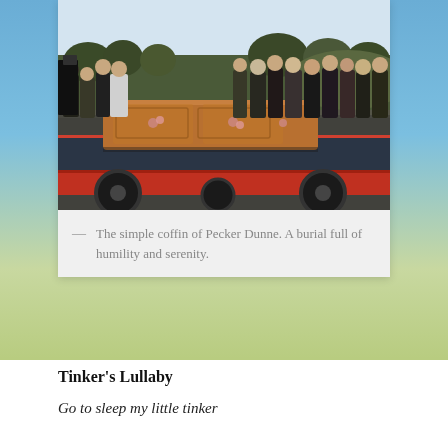[Figure (photo): A simple wooden coffin resting on a red flatbed trailer/cart. Mourners stand around it on a road. Trees and a hillside visible in the background. The scene depicts the burial procession of Pecker Dunne.]
The simple coffin of Pecker Dunne. A burial full of humility and serenity.
Tinker's Lullaby
Go to sleep my little tinker